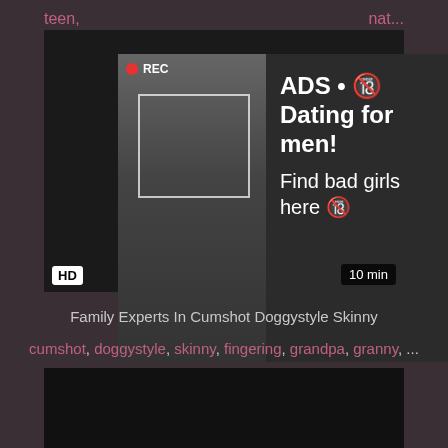teen,
nat...
[Figure (screenshot): Video player with a dating advertisement overlay. The ad shows a woman taking a selfie with REC indicator, overlay text reads: ADS • Dating for men! Find bad girls here]
HD
10 min
Family Experts In Cumshot Doggystyle Skinny
cumshot, doggystyle, skinny, fingering, grandpa, granny, ...
[Figure (screenshot): Second video thumbnail, dark/black]